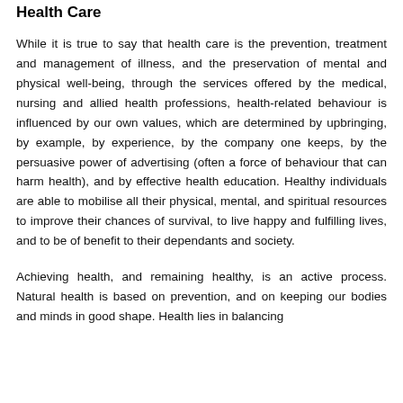Health Care
While it is true to say that health care is the prevention, treatment and management of illness, and the preservation of mental and physical well-being, through the services offered by the medical, nursing and allied health professions, health-related behaviour is influenced by our own values, which are determined by upbringing, by example, by experience, by the company one keeps, by the persuasive power of advertising (often a force of behaviour that can harm health), and by effective health education. Healthy individuals are able to mobilise all their physical, mental, and spiritual resources to improve their chances of survival, to live happy and fulfilling lives, and to be of benefit to their dependants and society.
Achieving health, and remaining healthy, is an active process. Natural health is based on prevention, and on keeping our bodies and minds in good shape. Health lies in balancing